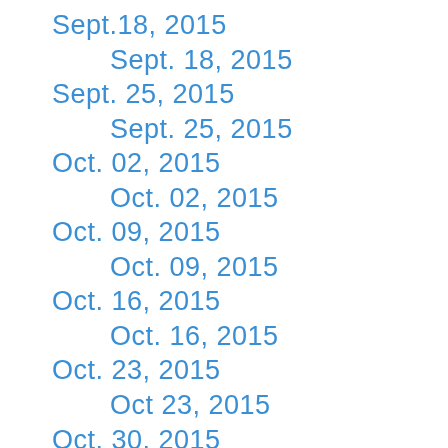Sept.18, 2015
Sept. 18, 2015
Sept. 25, 2015
Sept. 25, 2015
Oct. 02, 2015
Oct. 02, 2015
Oct. 09, 2015
Oct. 09, 2015
Oct. 16, 2015
Oct. 16, 2015
Oct. 23, 2015
Oct 23, 2015
Oct. 30, 2015
Oct 30, 2015
Nov. 6, 2015
Nov. 6, 2015
Nov. 20, 2015